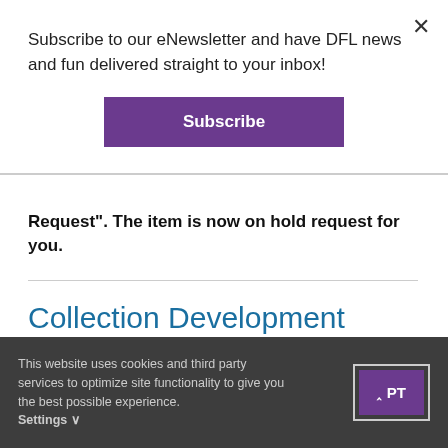Subscribe to our eNewsletter and have DFL news and fun delivered straight to your inbox!
Subscribe
×
Request". The item is now on hold request for you.
Collection Development Policy
This website uses cookies and third party services to optimize site functionality to give you the best possible experience. Settings ∨
ACCEPT